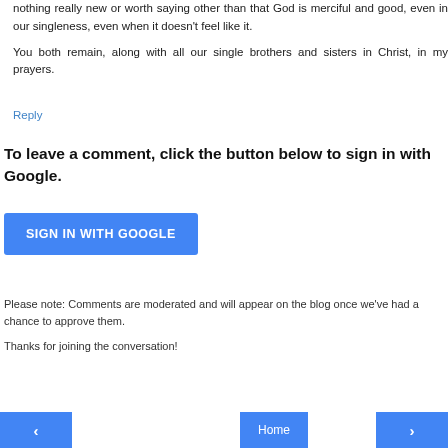nothing really new or worth saying other than that God is merciful and good, even in our singleness, even when it doesn't feel like it.

You both remain, along with all our single brothers and sisters in Christ, in my prayers.
Reply
To leave a comment, click the button below to sign in with Google.
[Figure (other): Blue 'SIGN IN WITH GOOGLE' button]
Please note: Comments are moderated and will appear on the blog once we've had a chance to approve them.

Thanks for joining the conversation!
< | Home | >